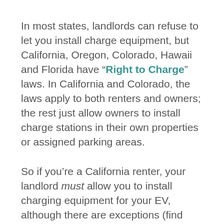In most states, landlords can refuse to let you install charge equipment, but California, Oregon, Colorado, Hawaii and Florida have “Right to Charge” laws. In California and Colorado, the laws apply to both renters and owners; the rest just allow owners to install charge stations in their own properties or assigned parking areas.
So if you’re a California renter, your landlord must allow you to install charging equipment for your EV, although there are exceptions (find